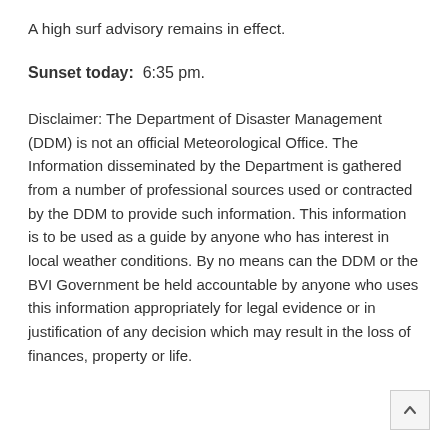A high surf advisory remains in effect.
Sunset today:  6:35 pm.
Disclaimer: The Department of Disaster Management (DDM) is not an official Meteorological Office. The Information disseminated by the Department is gathered from a number of professional sources used or contracted by the DDM to provide such information. This information is to be used as a guide by anyone who has interest in local weather conditions. By no means can the DDM or the BVI Government be held accountable by anyone who uses this information appropriately for legal evidence or in justification of any decision which may result in the loss of finances, property or life.